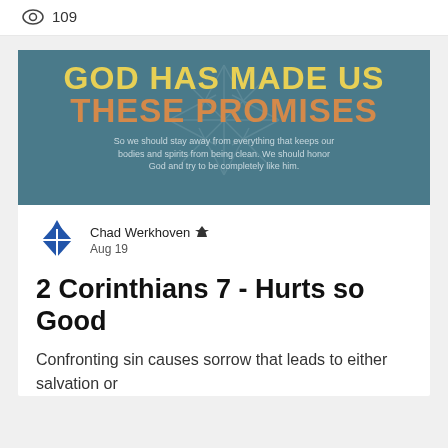👁 109
[Figure (illustration): Decorative image with teal/blue background, starburst graphic, yellow text 'GOD HAS MADE US' and orange text 'THESE PROMISES', with small caption text below]
So we should stay away from everything that keeps our bodies and spirits from being clean. We should honor God and try to be completely like him.
Chad Werkhoven 👑
Aug 19
2 Corinthians 7 - Hurts so Good
Confronting sin causes sorrow that leads to either salvation or